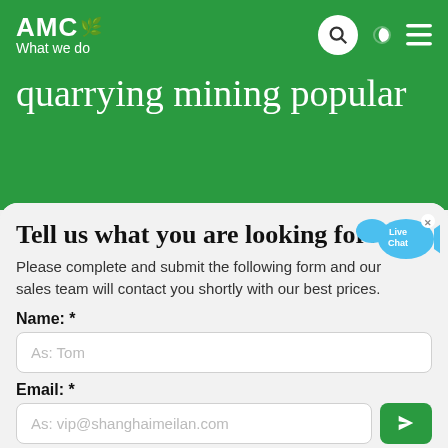AMC — What we do
quarrying mining popular
Tell us what you are looking for?
Please complete and submit the following form and our sales team will contact you shortly with our best prices.
Name: *
As: Tom
Email: *
As: vip@shanghaimeilan.com
Phone: *
With Country Code